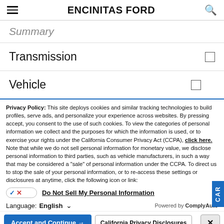ENCINITAS FORD
Summary
Transmission
Vehicle
Privacy Policy: This site deploys cookies and similar tracking technologies to build profiles, serve ads, and personalize your experience across websites. By pressing accept, you consent to the use of such cookies. To view the categories of personal information we collect and the purposes for which the information is used, or to exercise your rights under the California Consumer Privacy Act (CCPA), click here. Note that while we do not sell personal information for monetary value, we disclose personal information to third parties, such as vehicle manufacturers, in such a way that may be considered a "sale" of personal information under the CCPA. To direct us to stop the sale of your personal information, or to re-access these settings or disclosures at anytime, click the following icon or link:
Do Not Sell My Personal Information
Language: English    Powered by ComplyAuto
Accept and Continue →    California Privacy Disclosures    ×